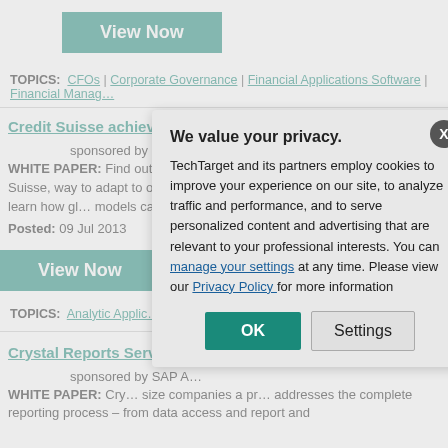[Figure (other): Teal 'View Now' button at top of page]
TOPICS: CFOs | Corporate Governance | Financial Applications Software | Financial Manag…
Credit Suisse achieves more agile business planning
sponsored by IBM
WHITE PAPER: Find out how leading global investment bank, Credit Suisse, [way to adapt to organizational change. Consult this resource to learn how...] models can be upda... days.
Posted: 09 Jul 2013
[Figure (other): Teal 'View Now' button]
TOPICS: Analytic Applic... | Financial Management |...
Crystal Reports Serve…
sponsored by SAP A...
WHITE PAPER: Cry... size companies a pr... addresses the complete reporting process – from data access and report and
[Figure (screenshot): Privacy consent modal dialog overlay with title 'We value your privacy.' and OK/Settings buttons]